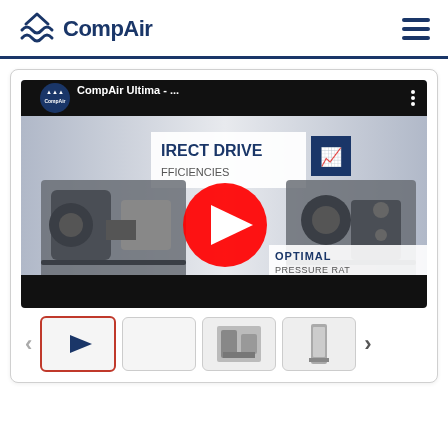[Figure (logo): CompAir logo with blue mountain/wave symbol and bold dark blue CompAir text]
[Figure (screenshot): YouTube video thumbnail for CompAir Ultima video showing two compressor units with text DIRECT DRIVE EFFICIENCIES and OPTIMAL PRESSURE RAT, with YouTube play button overlay]
[Figure (other): Carousel navigation with left arrow, four thumbnail items (first active with red border showing play icon, second empty, third showing compressor unit, fourth showing narrow tall equipment), and right arrow]